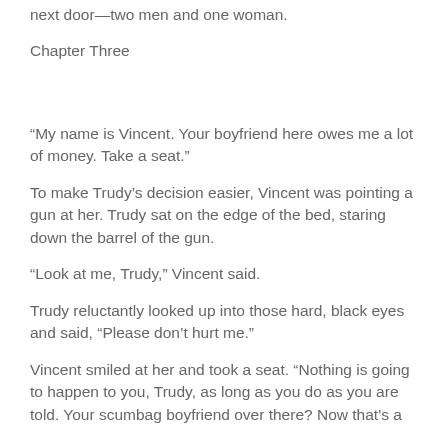next door—two men and one woman.
Chapter Three
“My name is Vincent. Your boyfriend here owes me a lot of money. Take a seat.”
To make Trudy’s decision easier, Vincent was pointing a gun at her. Trudy sat on the edge of the bed, staring down the barrel of the gun.
“Look at me, Trudy,” Vincent said.
Trudy reluctantly looked up into those hard, black eyes and said, “Please don’t hurt me.”
Vincent smiled at her and took a seat. “Nothing is going to happen to you, Trudy, as long as you do as you are told. Your scumbag boyfriend over there? Now that’s a